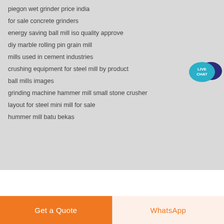piegon wet grinder price india
for sale concrete grinders
energy saving ball mill iso quality approve
diy marble rolling pin grain mill
mills used in cement industries
crushing equipment for steel mill by product
ball mills images
grinding machine hammer mill small stone crusher
layout for steel mini mill for sale
hummer mill batu bekas
[Figure (infographic): Live Chat bubble icon with teal circle and dark blue speech bubble]
Copyright © 2022 GBM    Products | About us | Contact Us | Sitemap
Get a Quote
WhatsApp